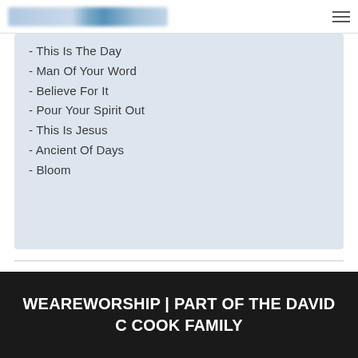[WeAreWorship logo and navigation]
- This Is The Day
- Man Of Your Word
- Believe For It
- Pour Your Spirit Out
- This Is Jesus
- Ancient Of Days
- Bloom
See Sheet music for Such A Time As This
WEAREWORSHIP | PART OF THE DAVID C COOK FAMILY